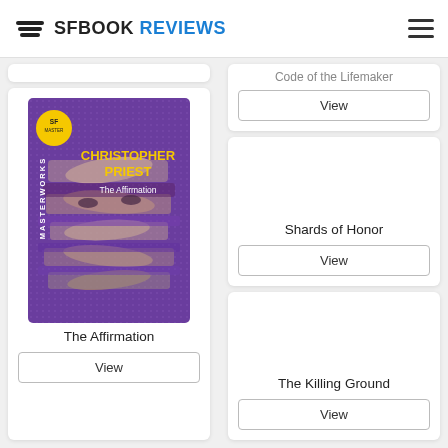SFBOOK REVIEWS
[Figure (illustration): Partial white card at top of left column, truncated]
[Figure (photo): Book cover: The Affirmation by Christopher Priest, SF Masterworks edition, purple background with fragmented face]
The Affirmation
View
Code of the Lifemaker
View
Shards of Honor
View
The Killing Ground
View